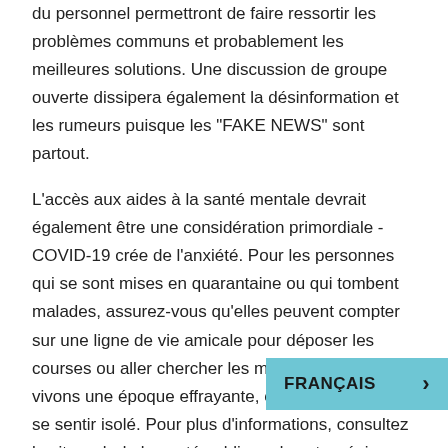du personnel permettront de faire ressortir les problèmes communs et probablement les meilleures solutions. Une discussion de groupe ouverte dissipera également la désinformation et les rumeurs puisque les "FAKE NEWS" sont partout.
L'accès aux aides à la santé mentale devrait également être une considération primordiale - COVID-19 crée de l'anxiété. Pour les personnes qui se sont mises en quarantaine ou qui tombent malades, assurez-vous qu'elles peuvent compter sur une ligne de vie amicale pour déposer les courses ou aller chercher les médicaments. Nous vivons une époque effrayante, et personne ne veut se sentir isolé. Pour plus d'informations, consultez le site web de la santé publique de votre région ou le site du gouvernement du Canada https://www.canada.ca/en/public-health/services/diseases/2019-novel-coronavirus-infection.html